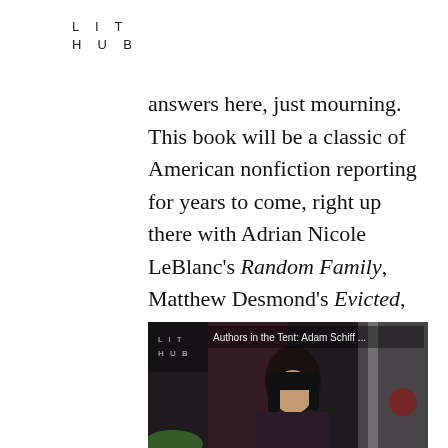LIT
HUB
answers here, just mourning. This book will be a classic of American nonfiction reporting for years to come, right up there with Adrian Nicole LeBlanc's Random Family, Matthew Desmond's Evicted, and Jesmyn Ward's Men We Reaped. – John Freeman, Executive Editor
[Figure (screenshot): Video thumbnail showing a woman with dark bangs reading, with Lit Hub logo in lower left and title 'Authors in the Tent: Adam Schiff ...' overlaid at top]